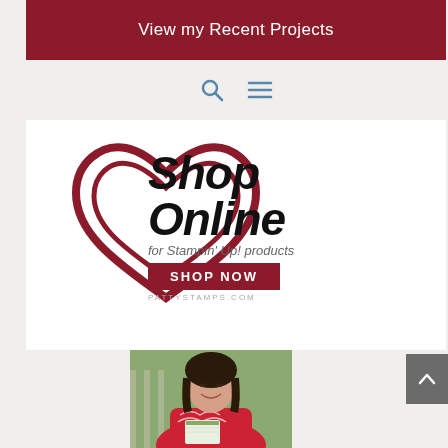View my Recent Projects
[Figure (logo): Shop Online for Stampin' Up! products logo with a red heart outline and SHOP NOW button, watermark PATTYSTAMPS.COM]
[Figure (photo): Woman with dark hair wearing a red top with white embroidery, smiling outdoors, holding what appears to be a catalog or book]